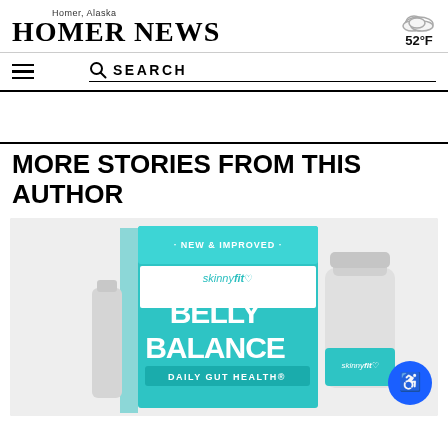Homer News — Homer, Alaska
52°F
MORE STORIES FROM THIS AUTHOR
[Figure (photo): SkinnyFit Belly Balance product — box and bottle of gummy supplements with teal branding. Box reads: NEW & IMPROVED, skinnyfit, BELLY BALANCE, DAILY GUT HEALTH. Bottle also shows skinnyfit logo.]